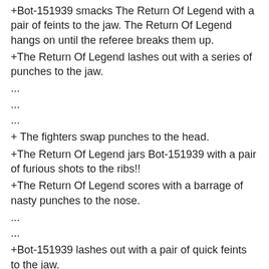+Bot-151939 smacks The Return Of Legend with a pair of feints to the jaw. The Return Of Legend hangs on until the referee breaks them up.
+The Return Of Legend lashes out with a series of punches to the jaw.
...
...
...
+ The fighters swap punches to the head.
+The Return Of Legend jars Bot-151939 with a pair of furious shots to the ribs!!
+The Return Of Legend scores with a barrage of nasty punches to the nose.
...
...
+Bot-151939 lashes out with a pair of quick feints to the jaw.
+The Return Of Legend punches Bot-151939 with a series of painful feints to the jaw.